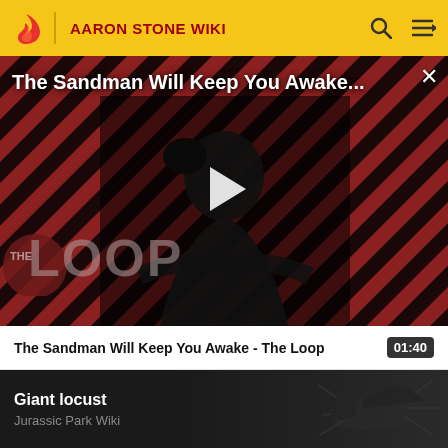AARON STONE WIKI
[Figure (screenshot): Video player thumbnail showing 'The Sandman Will Keep You Awake...' with a dark figure in a black cloak against a red and black striped background with 'THE LOOP' logo, a white play button triangle in the center, and an X close button in the top right.]
The Sandman Will Keep You Awake - The Loop  01:40
[Figure (illustration): Dark illustration of a giant locust creature on a dark background, with text 'Giant locust' in white bold and 'Jurassic Park Wiki' in gray below.]